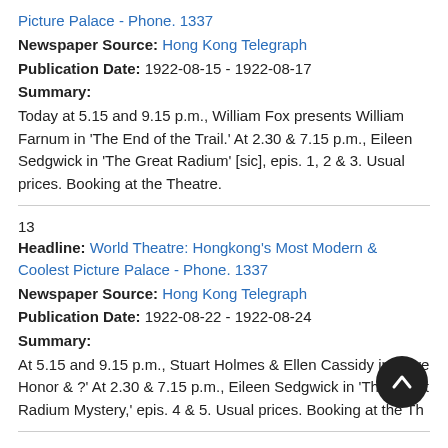Picture Palace - Phone. 1337
Newspaper Source: Hong Kong Telegraph
Publication Date: 1922-08-15 - 1922-08-17
Summary:
Today at 5.15 and 9.15 p.m., William Fox presents William Farnum in 'The End of the Trail.' At 2.30 & 7.15 p.m., Eileen Sedgwick in 'The Great Radium' [sic], epis. 1, 2 & 3. Usual prices. Booking at the Theatre.
13
Headline: World Theatre: Hongkong's Most Modern & Coolest Picture Palace - Phone. 1337
Newspaper Source: Hong Kong Telegraph
Publication Date: 1922-08-22 - 1922-08-24
Summary:
At 5.15 and 9.15 p.m., Stuart Holmes & Ellen Cassidy in 'Love Honor & ?' At 2.30 & 7.15 p.m., Eileen Sedgwick in 'The Great Radium Mystery,' epis. 4 & 5. Usual prices. Booking at the Th...
14
Headline: World Theatre: Hongkong's Most Modern & Coolest